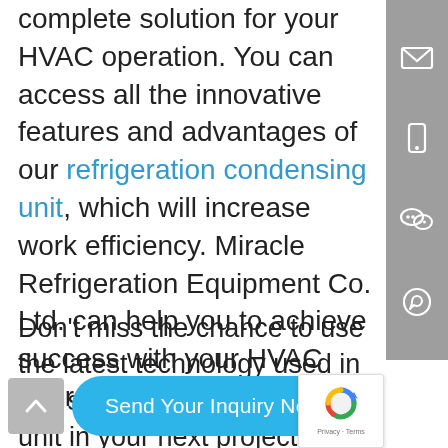complete solution for your HVAC operation. You can access all the innovative features and advantages of our refrigeration condensing unit, which will increase work efficiency. Miracle Refrigeration Equipment Co. Ltd. can help you to achieve success with your HVAC operation.
Don't miss the chance to use the latest technology used in this supreme new outdoor ac unit in your next project and make it successful. Contact us today to learn more.
[Figure (other): Gray vertical sidebar with email, phone, WeChat, and WhatsApp icons]
[Figure (other): Gray back-to-top button with upward chevron arrow]
[Figure (other): Blue rounded button labeled 'Send Your Inquiry Now']
[Figure (other): reCAPTCHA widget with logo and Privacy - Terms text]